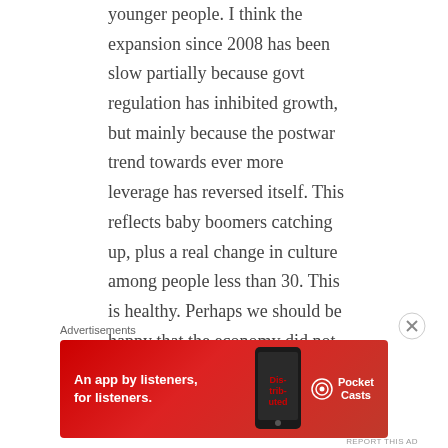younger people. I think the expansion since 2008 has been slow partially because govt regulation has inhibited growth, but mainly because the postwar trend towards ever more leverage has reversed itself. This reflects baby boomers catching up, plus a real change in culture among people less than 30. This is healthy. Perhaps we should be happy that the economy did not come
Advertisements
[Figure (illustration): Red advertisement banner for Pocket Casts app reading 'An app by listeners, for listeners.' with a phone image and Pocket Casts logo on red background]